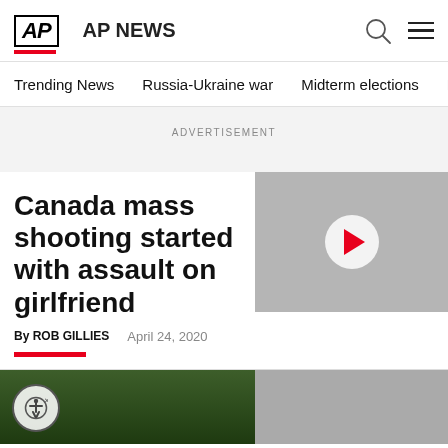AP  AP NEWS
Trending News   Russia-Ukraine war   Midterm elections   Dona
ADVERTISEMENT
Canada mass shooting started with assault on girlfriend
By ROB GILLIES   April 24, 2020
[Figure (screenshot): AP News website screenshot showing article header with logo, navigation bar, advertisement placeholder, article title, byline, and a video thumbnail with play button]